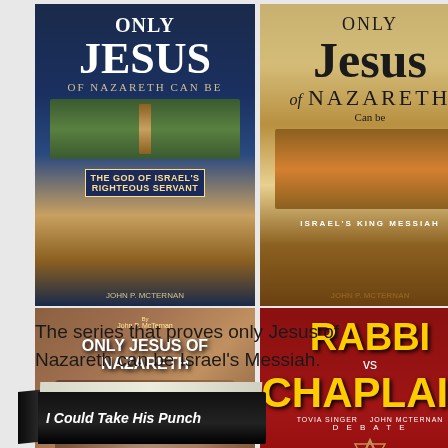[Figure (illustration): A 2x2 grid of book covers by John P. McTernan. Top-left: 'Only Jesus of Nazareth Can Be the God of Israel's Righteous Servant'. Top-right: 'Only Jesus of Nazareth Can Be Israel's King Messiah'. Bottom-left: 'Only Jesus of Nazareth Can Sit on the Throne of David'. Bottom-right: 'Rabbi vs Chaplain' debate book about whether Jesus is Israel's Promised Messiah.]
The series that proves only Jesus of Nazareth can be Israel's Messiah.
[Figure (illustration): Partial view of a black book seen from angle showing spine and cover, with italic text 'I Could Take His Punch' visible on the cover.]